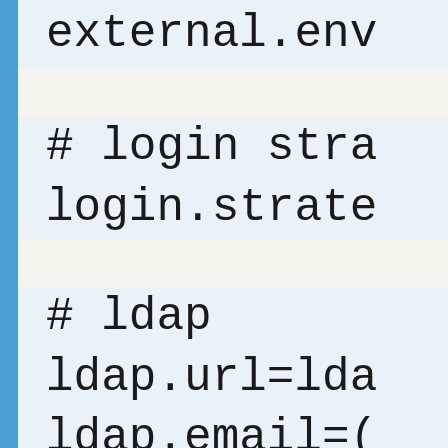external.env
# login stra
login.strate
# ldap
ldap.url=lda
ldap.email=(